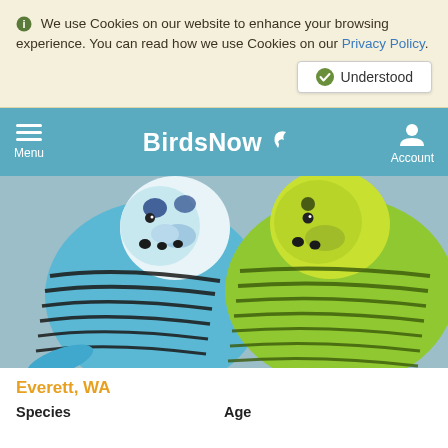We use Cookies on our website to enhance your browsing experience. You can read how we use Cookies on our Privacy Policy.
Understood
BirdsNow — Menu | Account
[Figure (photo): Close-up photograph of two parakeets (budgerigars) side by side — one blue-and-white with striped feathers, one yellow-green — against a blurred background.]
Everett, WA
Species    Age